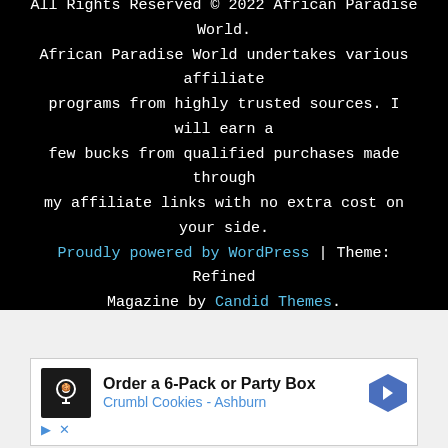All Rights Reserved © 2022 African Paradise World. African Paradise World undertakes various affiliate programs from highly trusted sources. I will earn a few bucks from qualified purchases made through my affiliate links with no extra cost on your side. Proudly powered by WordPress | Theme: Refined Magazine by Candid Themes.
[Figure (other): Advertisement banner for Crumbl Cookies - Ashburn showing 'Order a 6-Pack or Party Box' with a cookie shop logo icon and directional arrow icon]